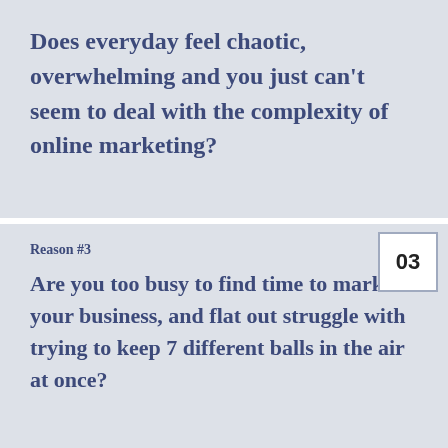Does everyday feel chaotic, overwhelming and you just can't seem to deal with the complexity of online marketing?
Reason #3
Are you too busy to find time to market your business, and flat out struggle with trying to keep 7 different balls in the air at once?